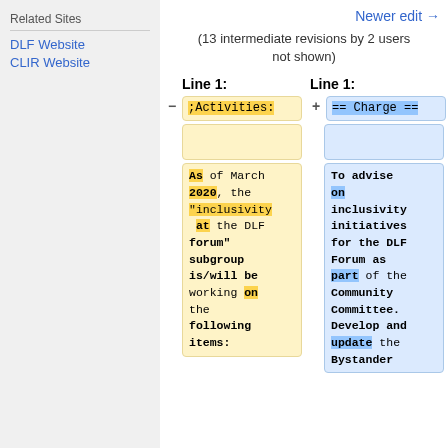Related Sites
DLF Website
CLIR Website
Newer edit →
(13 intermediate revisions by 2 users not shown)
Line 1:	Line 1:
| - | old | + | new |
| --- | --- | --- | --- |
| ;Activities: |  | == Charge == |  |
| As of March 2020, the "inclusivity at the DLF forum" subgroup is/will be working on the following items: |  | To advise on inclusivity initiatives for the DLF Forum as part of the Community Committee. Develop and update the Bystander |  |